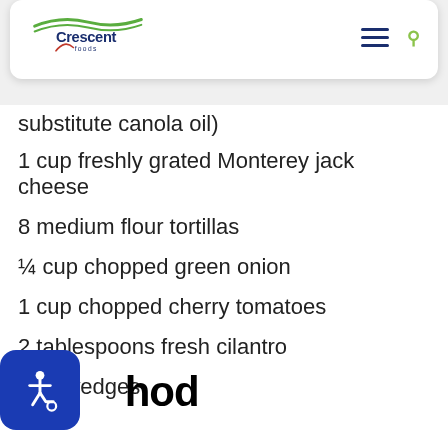[Figure (logo): Crescent Foods logo with green wave and red checkmark]
substitute canola oil)
1 cup freshly grated Monterey jack cheese
8 medium flour tortillas
¼ cup chopped green onion
1 cup chopped cherry tomatoes
2 tablespoons fresh cilantro
lime wedges
Method
[Figure (illustration): Accessibility (wheelchair) icon button in blue]